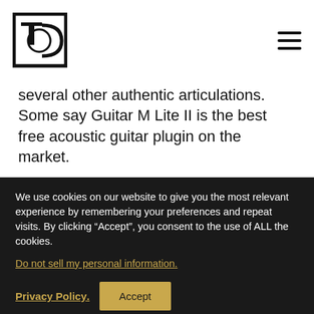[Logo: TC] [Hamburger menu]
several other authentic articulations. Some say Guitar M Lite II is the best free acoustic guitar plugin on the market.
Furthermore, Guitar M Lite II comes loaded with 866 samples, various sound shaping options, and a Tab Player that can load and play several different guitar tablature file formats.
We use cookies on our website to give you the most relevant experience by remembering your preferences and repeat visits. By clicking “Accept”, you consent to the use of ALL the cookies.
Do not sell my personal information.
Privacy Policy
Accept